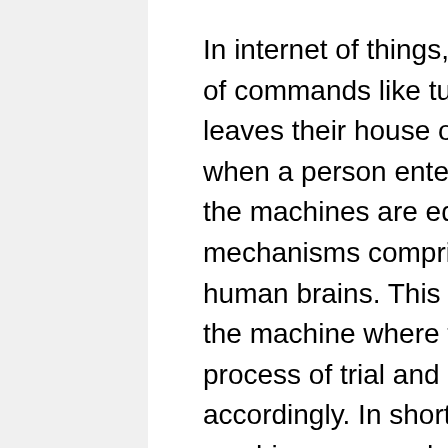In internet of things, the devices are fed with the fixed set of commands like turning off the lights when any person leaves their house or automatically opening the door when a person enters their home. In artificial intelligence, the machines are equipped with various learning mechanisms comprising of neural networks akin to human brains. This essentially renders cognitive ability to the machine where the machine learns through a process of trial and error and adapts to the environment accordingly. In short, through artificial intelligence, machines are made capable enough to make rational decisions.
In AI, the machines are not fed with